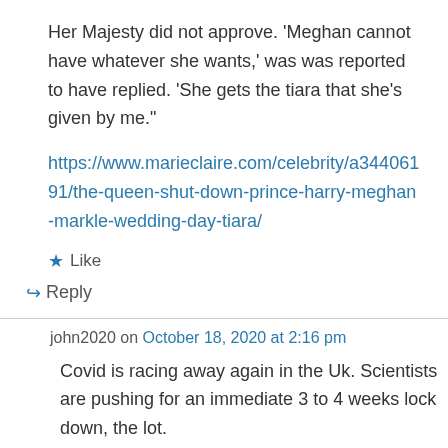Her Majesty did not approve. ‘Meghan cannot have whatever she wants,’ was was reported to have replied. ‘She gets the tiara that she’s given by me.”
https://www.marieclaire.com/celebrity/a34406191/the-queen-shut-down-prince-harry-meghan-markle-wedding-day-tiara/
★ Like
↳ Reply
john2020 on October 18, 2020 at 2:16 pm
Covid is racing away again in the Uk. Scientists are pushing for an immediate 3 to 4 weeks lock down, the lot.